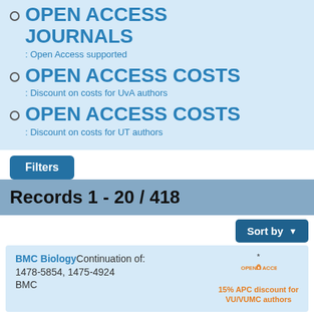OPEN ACCESS JOURNALS : Open Access supported
OPEN ACCESS COSTS : Discount on costs for UvA authors
OPEN ACCESS COSTS : Discount on costs for UT authors
Filters
Records 1 - 20 / 418
Sort by
BMC Biology Continuation of: 1478-5854, 1475-4924 BMC * OPEN ACCESS 15% APC discount for VU/VUMC authors